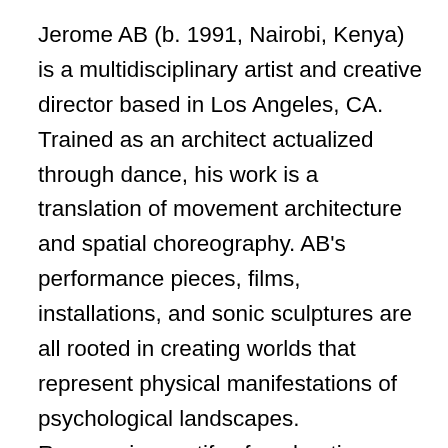Jerome AB (b. 1991, Nairobi, Kenya) is a multidisciplinary artist and creative director based in Los Angeles, CA. Trained as an architect actualized through dance, his work is a translation of movement architecture and spatial choreography. AB's performance pieces, films, installations, and sonic sculptures are all rooted in creating worlds that represent physical manifestations of psychological landscapes. Reoccurring motifs of exploration include queer futures, ancestral connection, healthy masculinity, and the occasional internet purge. AB has created work for and alongside artists such as Blood Orange, Bobbi Salvor Menuez, Kanye West, Caroline Polachek, Puppies Puppies (Jade Kuriki Olivo), poet Precious Okoyomon, photographers Paul Sepuya and Michael Bailey Gates, filmmaker Aima Lee and